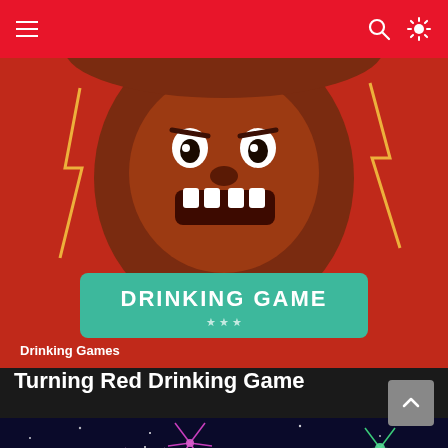Navigation bar with menu, search, and theme toggle
[Figure (screenshot): Turning Red movie drinking game promotional image — an angry reddish fluffy creature character against a red background with lightning bolts, overlaid with a teal 'DRINKING GAME' banner. Category label 'Drinking Games' at bottom left.]
Turning Red Drinking Game
[Figure (screenshot): Coco movie drinking game promotional image — animated character playing guitar with fireworks in the background and a dog, overlaid with a teal 'DRINKING GAME' banner at the bottom.]